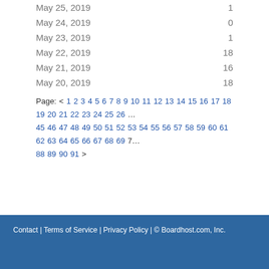May 25, 2019   1
May 24, 2019   0
May 23, 2019   1
May 22, 2019   18
May 21, 2019   16
May 20, 2019   18
Page: < 1 2 3 4 5 6 7 8 9 10 11 12 13 14 15 16 17 18 19 20 21 22 23 24 25 26 … 45 46 47 48 49 50 51 52 53 54 55 56 57 58 59 60 61 62 63 64 65 66 67 68 69 7… 88 89 90 91 >
Contact | Terms of Service | Privacy Policy | © Boardhost.com, Inc.   Th…